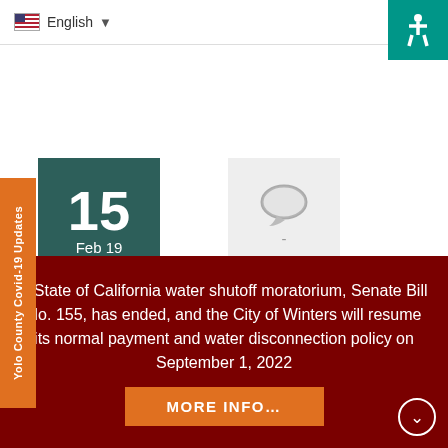English
[Figure (other): Accessibility icon on teal background, top right corner]
[Figure (other): Date badge showing 15 Feb 19 on dark teal background]
[Figure (other): Comment/speech bubble icon on light gray background with dash below]
Friday Update on February 15 2019
his weeks update in the rain and trash edition!
rst, the saga of the rain and the detention pond:
The State of California water shutoff moratorium, Senate Bill No. 155, has ended, and the City of Winters will resume its normal payment and water disconnection policy on September 1, 2022
MORE INFO...
[Figure (other): Yolo County Covid-19 Updates vertical orange sidebar label on left side]